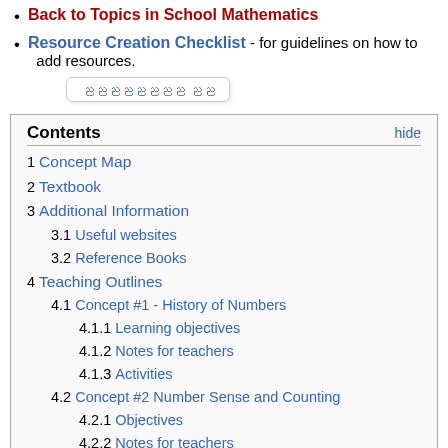Back to Topics in School Mathematics
Resource Creation Checklist - for guidelines on how to add resources.
ညညညညညညညည ညည (tooltip text in Myanmar script)
| Contents | hide |
| --- | --- |
| 1 | Concept Map |
| 2 | Textbook |
| 3 | Additional Information |
| 3.1 | Useful websites |
| 3.2 | Reference Books |
| 4 | Teaching Outlines |
| 4.1 | Concept #1 - History of Numbers |
| 4.1.1 | Learning objectives |
| 4.1.2 | Notes for teachers |
| 4.1.3 | Activities |
| 4.2 | Concept #2 Number Sense and Counting |
| 4.2.1 | Objectives |
| 4.2.2 | Notes for teachers |